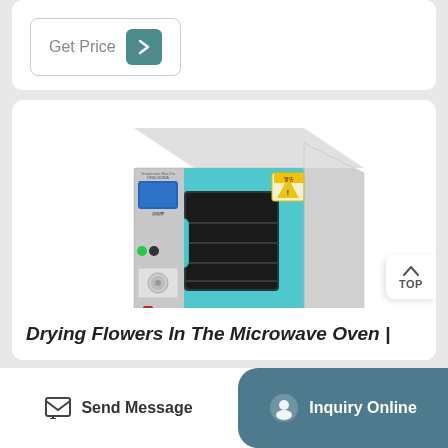[Figure (other): Get Price button with teal arrow icon on white card]
[Figure (photo): Laboratory drying oven (DRG-9030A) in teal/turquoise and white color, with digital control panel on left side, glass window on door, warning labels on top right, and red logo badge at bottom center]
Drying Flowers In The Microwave Oven |
Send Message
Inquiry Online